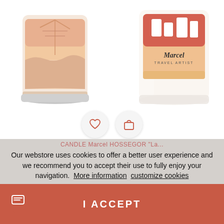[Figure (photo): Two decorative candle jars with illustrated labels. Left candle has a peach/salmon colored label with illustrated scene. Right candle has a red/warm-toned travel-themed label with 'Marcel' branding.]
[Figure (infographic): Two circular icon buttons: a heart (wishlist) icon and a shopping bag icon, both outlined in coral/red on light circular backgrounds.]
CANDLE Marcel HOSSEGOR "La...
Our webstore uses cookies to offer a better user experience and we recommend you to accept their use to fully enjoy your navigation.  More information  customize cookies
I ACCEPT